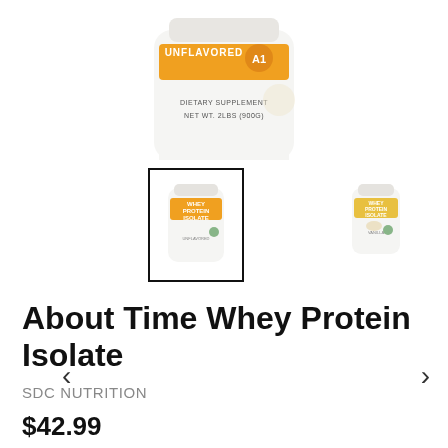[Figure (photo): Top portion of a white protein powder container with orange label reading UNFLAVORED, 'A1', DIETARY SUPPLEMENT, NET WT. 2LBS (900G)]
[Figure (photo): Thumbnail gallery showing two Whey Protein Isolate containers; first thumbnail is selected (black border), second is unselected. Left and right navigation arrows are visible.]
About Time Whey Protein Isolate
SDC NUTRITION
$42.99